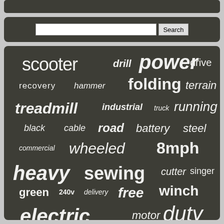[Figure (infographic): Word cloud on dark background with search bar. Words related to mobility, power tools, and heavy equipment including: scooter, drill, power, drive, recovery, hammer, folding, terrain, treadmill, industrial, truck, running, black, cable, road, battery, steel, commercial, wheeled, 8mph, heavy, sewing, cutter, singer, green, 240v, delivery, free, winch, electric, motor, duty, machine, mobility, wheelchair]